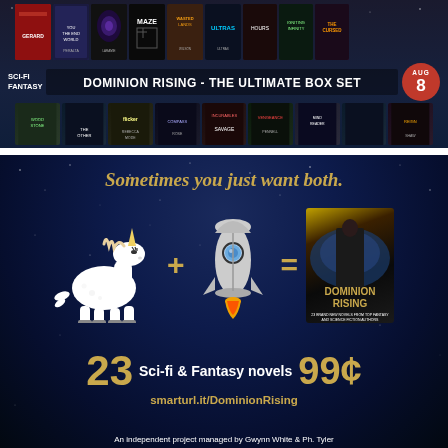[Figure (illustration): Dominion Rising - The Ultimate Box Set promotional banner showing two rows of sci-fi and fantasy book covers with the title in the center and an Aug 8 release badge.]
[Figure (illustration): Dominion Rising box set advertisement with tagline 'Sometimes you just want both.' showing a unicorn plus a rocket equals the Dominion Rising book cover, advertising 23 Sci-fi & Fantasy novels for 99 cents at smarturl.it/DominionRising. An independent project managed by Gwynn White & Ph. Tyler.]